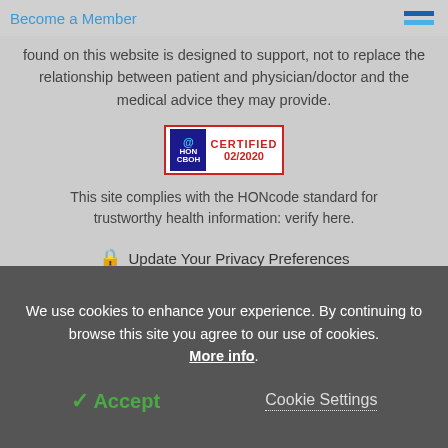Become a Member
found on this website is designed to support, not to replace the relationship between patient and physician/doctor and the medical advice they may provide.
[Figure (logo): HON (Health on the Net) certification badge showing CERTIFIED 02/2020]
This site complies with the HONcode standard for trustworthy health information: verify here.
Update Your Privacy Preferences
Last Updated: Monday 22 Aug 2022
We use cookies to enhance your experience. By continuing to browse this site you agree to our use of cookies. More info.
Accept
Cookie Settings